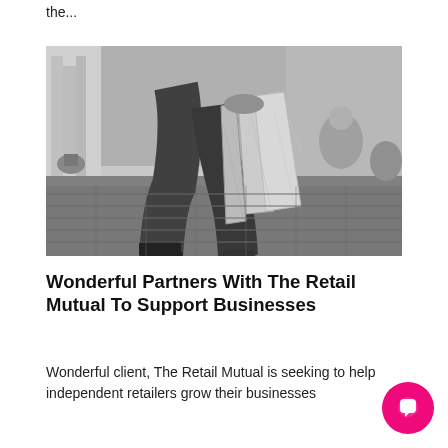the...
[Figure (photo): Black and white photo of a person carrying multiple shopping bags while walking on a cobblestone street, with blurred background showing a street scene.]
Wonderful Partners With The Retail Mutual To Support Businesses
Wonderful client, The Retail Mutual is seeking to help independent retailers grow their businesses